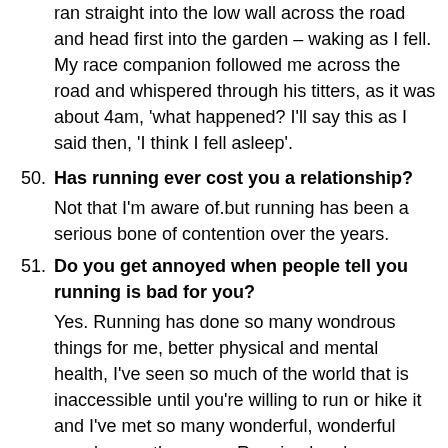ran straight into the low wall across the road and head first into the garden – waking as I fell. My race companion followed me across the road and whispered through his titters, as it was about 4am, 'what happened? I'll say this as I said then, 'I think I fell asleep'.
50. Has running ever cost you a relationship? Not that I'm aware of.but running has been a serious bone of contention over the years.
51. Do you get annoyed when people tell you running is bad for you? Yes. Running has done so many wondrous things for me, better physical and mental health, I've seen so much of the world that is inaccessible until you're willing to run or hike it and I've met so many wonderful, wonderful people over the years. Running has been nothing but kind to me – even in the times it has given